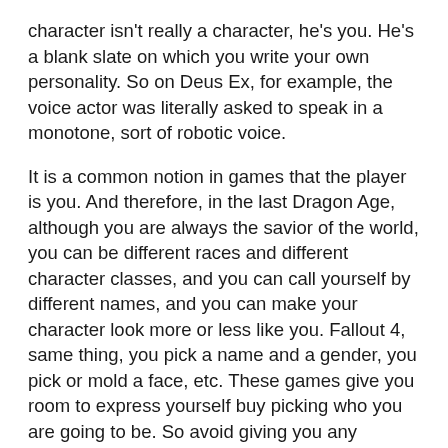character isn't really a character, he's you. He's a blank slate on which you write your own personality. So on Deus Ex, for example, the voice actor was literally asked to speak in a monotone, sort of robotic voice.
It is a common notion in games that the player is you. And therefore, in the last Dragon Age, although you are always the savior of the world, you can be different races and different character classes, and you can call yourself by different names, and you can make your character look more or less like you. Fallout 4, same thing, you pick a name and a gender, you pick or mold a face, etc. These games give you room to express yourself buy picking who you are going to be. So avoid giving you any information that might contradict that.
But I don't want to be the character. I want a relationship with the character. I want to know who he or she is. I'm not going to care about him or her unless I do.
The many successful narrative games with well-defined heroes suggest that I'm not the only player who'd rather